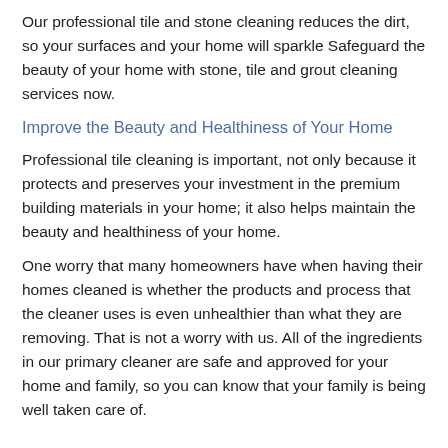Our professional tile and stone cleaning reduces the dirt, so your surfaces and your home will sparkle Safeguard the beauty of your home with stone, tile and grout cleaning services now.
Improve the Beauty and Healthiness of Your Home
Professional tile cleaning is important, not only because it protects and preserves your investment in the premium building materials in your home; it also helps maintain the beauty and healthiness of your home.
One worry that many homeowners have when having their homes cleaned is whether the products and process that the cleaner uses is even unhealthier than what they are removing. That is not a worry with us. All of the ingredients in our primary cleaner are safe and approved for your home and family, so you can know that your family is being well taken care of.